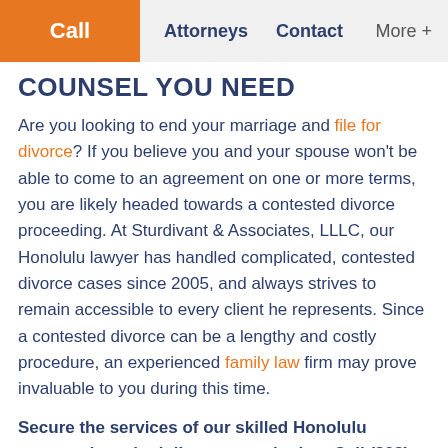Call | Attorneys | Contact | More +
COUNSEL YOU NEED
Are you looking to end your marriage and file for divorce? If you believe you and your spouse won't be able to come to an agreement on one or more terms, you are likely headed towards a contested divorce proceeding. At Sturdivant & Associates, LLLC, our Honolulu lawyer has handled complicated, contested divorce cases since 2005, and always strives to remain accessible to every client he represents. Since a contested divorce can be a lengthy and costly procedure, an experienced family law firm may prove invaluable to you during this time.
Secure the services of our skilled Honolulu attorney by scheduling a consultation. Call (808) 201-3898 today!